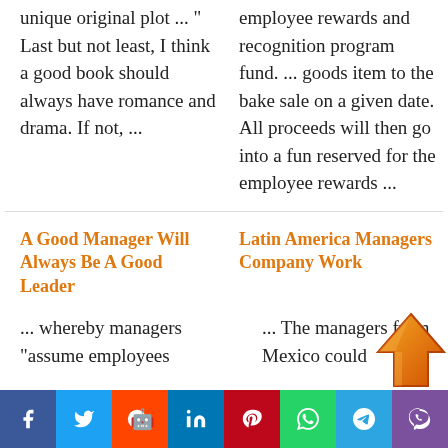unique original plot ... “ Last but not least, I think a good book should always have romance and drama. If not, ...
employee rewards and recognition program fund. ... goods item to the bake sale on a given date. All proceeds will then go into a fun reserved for the employee rewards ...
A Good Manager Will Always Be A Good Leader
Latin America Managers Company Work
... whereby managers “assume employees
... The managers from Mexico could
[Figure (illustration): Orange upward arrow icon]
[Figure (infographic): Social media sharing bar with icons: Facebook, Twitter, Reddit, LinkedIn, Pinterest, WhatsApp, Telegram, Viber]